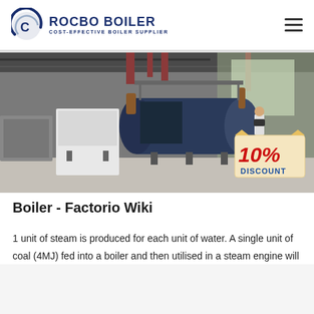ROCBO BOILER — COST-EFFECTIVE BOILER SUPPLIER
[Figure (photo): Industrial boiler facility interior showing a large dark-blue cylindrical boiler with pipes, a white control cabinet, a person standing with a camera tripod, and a '10% DISCOUNT' badge in the lower right corner.]
Boiler - Factorio Wiki
1 unit of steam is produced for each unit of water. A single unit of coal (4MJ) fed into a boiler and then utilised in a steam engine will